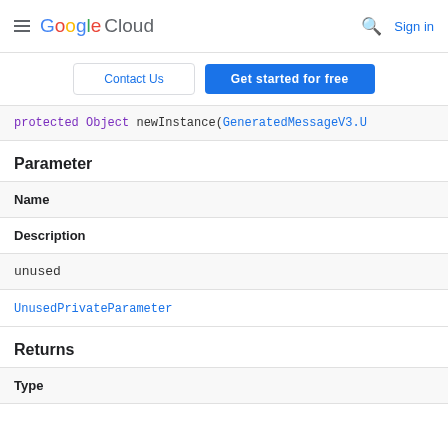Google Cloud | Contact Us | Get started for free | Sign in
protected Object newInstance(GeneratedMessageV3.U
Parameter
| Name | Description |
| --- | --- |
| unused | UnusedPrivateParameter |
Returns
| Type |
| --- |